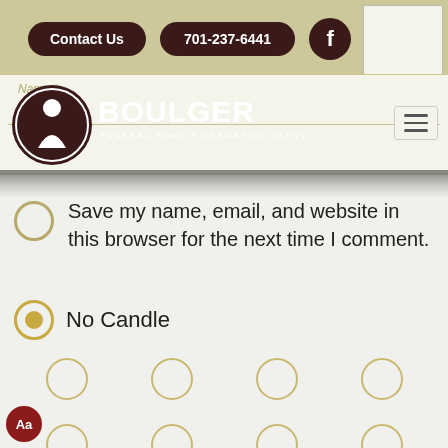[Figure (screenshot): Boulger Funeral Home & Cremation Services website navigation bar with Contact Us button, phone number 701-237-6441, Facebook icon button, logo overlay, hamburger menu, and form fields for Name and Email]
Save my name, email, and website in this browser for the next time I comment.
No Candle